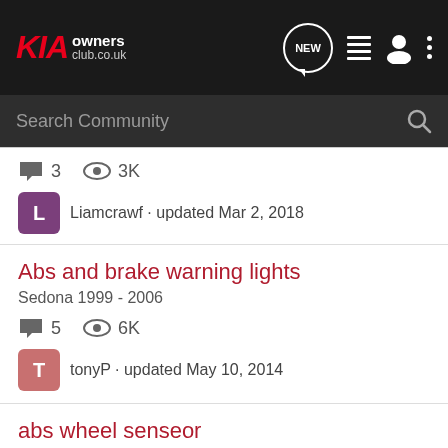KIA owners club.co.uk — navigation bar with search
3 comments · 3K views · Liamcrawf · updated Mar 2, 2018
Abs and brake warning lights
Sedona 1999 - 2006
5 comments · 6K views · tonyP · updated May 10, 2014
abs wheel senseor
Sedona 1999 - 2006
2 comments · 835 views